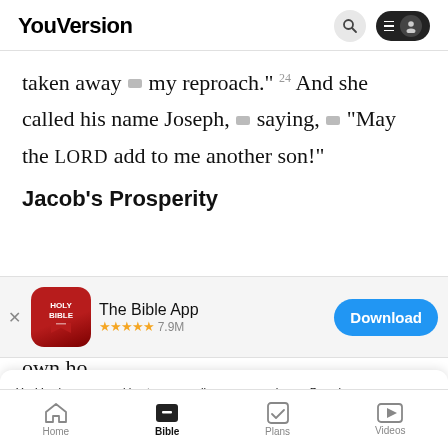YouVersion
taken away ⋯ my reproach.” 24 And she called his name Joseph, ⋯ saying, ⋯ “May the LORD add to me another son!”
Jacob’s Prosperity
[Figure (screenshot): App download banner for The Bible App with icon, 5 star rating 7.9M reviews, and Download button]
YouVersion uses cookies to personalize your experience. By using our website, you accept our use of cookies as described in our Privacy Policy.
Home | Bible | Plans | Videos